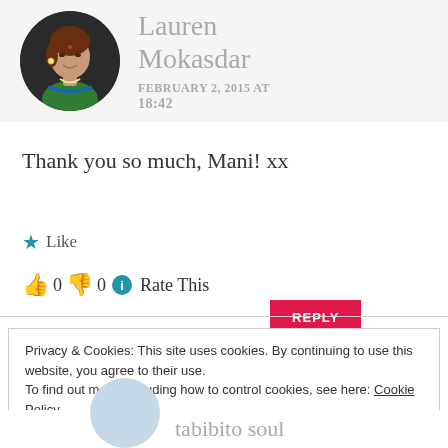[Figure (photo): Circular avatar photo of Lauren Mokasdar, a woman wearing a green top with jewelry, on a dark background]
Lauren Mokasdar
FEBRUARY 2, 2015 AT 18:42
Thank you so much, Mani! xx
★ Like
👍 0 👎 0 ℹ Rate This
REPLY
Privacy & Cookies: This site uses cookies. By continuing to use this website, you agree to their use.
To find out more, including how to control cookies, see here: Cookie Policy
Close and accept